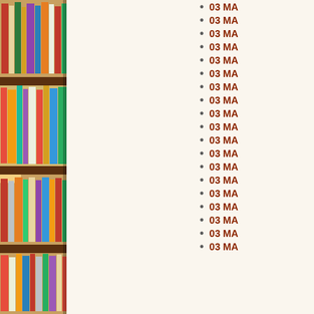[Figure (photo): Bookshelf with colorful books arranged on wooden shelves, photographed from the side]
03 MA
03 MA
03 MA
03 MA
03 MA
03 MA
03 MA
03 MA
03 MA
03 MA
03 MA
03 MA
03 MA
03 MA
03 MA
03 MA
03 MA
03 MA
03 MA